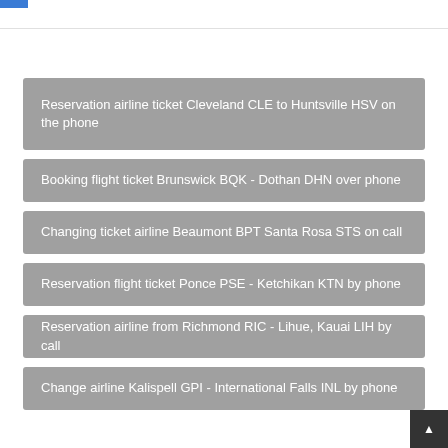Reservation airline ticket Cleveland CLE to Huntsville HSV on the phone
Booking flight ticket Brunswick BQK - Dothan DHN over phone
Changing ticket airline Beaumont BPT Santa Rosa STS on call
Reservation flight ticket Ponce PSE - Ketchikan KTN by phone
Reservation airline from Richmond RIC - Lihue, Kauai LIH by call
Change airline Kalispell GPI - International Falls INL by phone